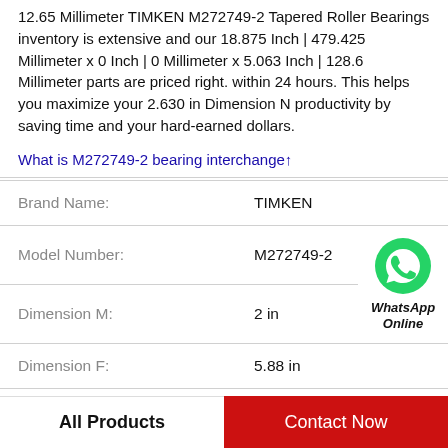12.65 Millimeter TIMKEN M272749-2 Tapered Roller Bearings inventory is extensive and our 18.875 Inch | 479.425 Millimeter x 0 Inch | 0 Millimeter x 5.063 Inch | 128.6 Millimeter parts are priced right. within 24 hours. This helps you maximize your 2.630 in Dimension N productivity by saving time and your hard-earned dollars.
What is M272749-2 bearing interchange↑
|  |  |  |
| --- | --- | --- |
| Brand Name: | TIMKEN |  |
| Model Number: | M272749-2 | WhatsApp Online |
| Dimension M: | 2 in |  |
| Dimension F: | 5.88 in |  |
| Dimension N: | 2.630 in |  |
| Oil Lubrication - M/N Seal: | 2200 rpm |  |
All Products
Contact Now